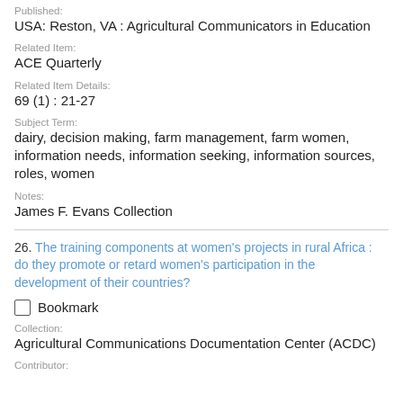Published:
USA: Reston, VA : Agricultural Communicators in Education
Related Item:
ACE Quarterly
Related Item Details:
69 (1) : 21-27
Subject Term:
dairy, decision making, farm management, farm women, information needs, information seeking, information sources, roles, women
Notes:
James F. Evans Collection
26. The training components at women's projects in rural Africa : do they promote or retard women's participation in the development of their countries?
Bookmark
Collection:
Agricultural Communications Documentation Center (ACDC)
Contributor: